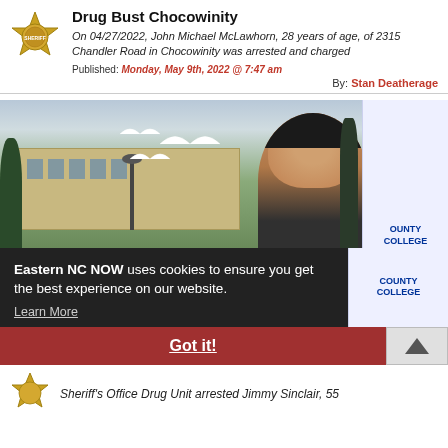Drug Bust Chocowinity
On 04/27/2022, John Michael McLawhorn, 28 years of age, of 2315 Chandler Road in Chocowinity was arrested and charged
Published: Monday, May 9th, 2022 @ 7:47 am
By: Stan Deatherage
[Figure (photo): Outdoor photo of a college campus building with a young woman smiling in the foreground, trees and lamp posts in background, seagull graphic overlay]
Eastern NC NOW uses cookies to ensure you get the best experience on our website. Learn More
Got it!
Sheriff's Office Drug Unit arrested Jimmy Sinclair, 55